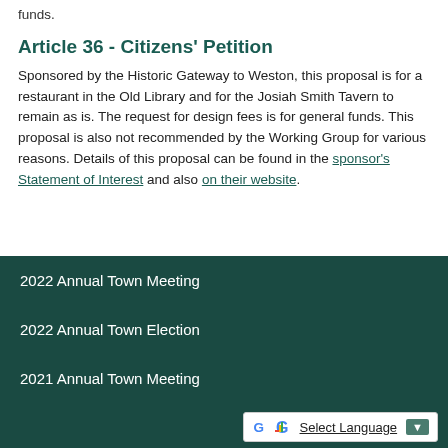funds.
Article 36 - Citizens' Petition
Sponsored by the Historic Gateway to Weston, this proposal is for a restaurant in the Old Library and for the Josiah Smith Tavern to remain as is. The request for design fees is for general funds. This proposal is also not recommended by the Working Group for various reasons. Details of this proposal can be found in the sponsor's Statement of Interest and also on their website.
2022 Annual Town Meeting
2022 Annual Town Election
2021 Annual Town Meeting